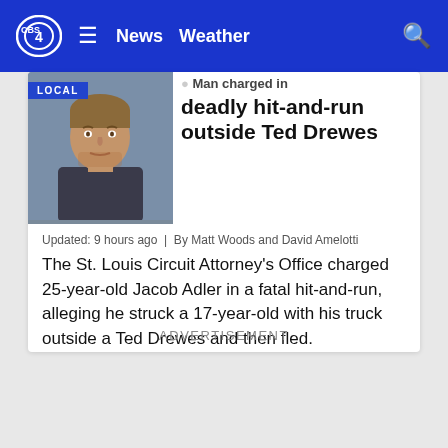CBS 4  ≡  News  Weather  🔍
[Figure (photo): Mugshot of Jacob Adler, a young man with short hair, with a LOCAL badge overlay in the top-left corner]
Man charged in deadly hit-and-run outside Ted Drewes
Updated: 9 hours ago  |  By Matt Woods and David Amelotti
The St. Louis Circuit Attorney's Office charged 25-year-old Jacob Adler in a fatal hit-and-run, alleging he struck a 17-year-old with his truck outside a Ted Drewes and then fled.
ADVERTISEMENT